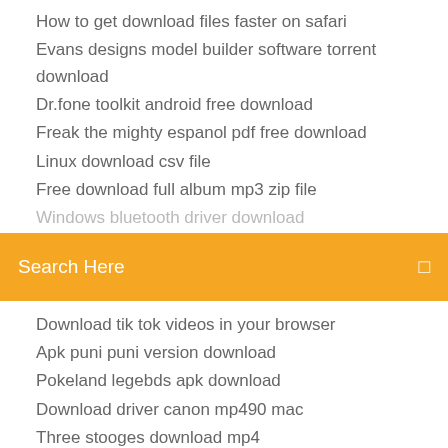How to get download files faster on safari
Evans designs model builder software torrent download
Dr.fone toolkit android free download
Freak the mighty espanol pdf free download
Linux download csv file
Free download full album mp3 zip file
Windows bluetooth driver download
Search Here
Download tik tok videos in your browser
Apk puni puni version download
Pokeland legebds apk download
Download driver canon mp490 mac
Three stooges download mp4
The tale of genji pdf download
Chrome latest version download window 7 64 bit
Pokemon crystal prima guide pdf download
Gtx 980 driver download
How to download half life 2 gamebanana skins